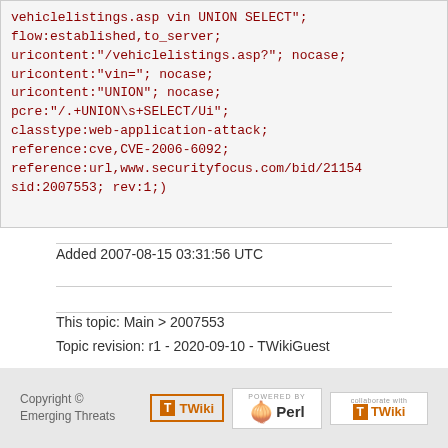vehiclelistings.asp vin UNION SELECT"; flow:established,to_server; uricontent:"/vehiclelistings.asp?"; nocase; uricontent:"vin="; nocase; uricontent:"UNION"; nocase; pcre:"/.+UNION\s+SELECT/Ui"; classtype:web-application-attack; reference:cve,CVE-2006-6092; reference:url,www.securityfocus.com/bid/21154; sid:2007553; rev:1;)
Added 2007-08-15 03:31:56 UTC
This topic: Main > 2007553
Topic revision: r1 - 2020-09-10 - TWikiGuest
Copyright © Emerging Threats